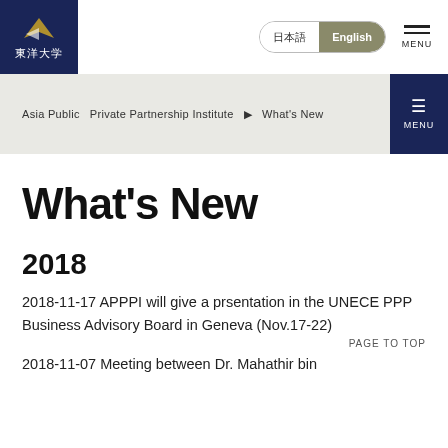[Figure (logo): Toyo University logo with bird emblem and Japanese characters 東洋大学 on dark navy background]
日本語  English  MENU
Asia Public  Private Partnership Institute  ▶  What's New
What's New
2018
2018-11-17 APPPI will give a prsentation in the UNECE PPP Business Advisory Board in Geneva (Nov.17-22)
PAGE TO TOP
2018-11-07 Meeting between Dr. Mahathir bin